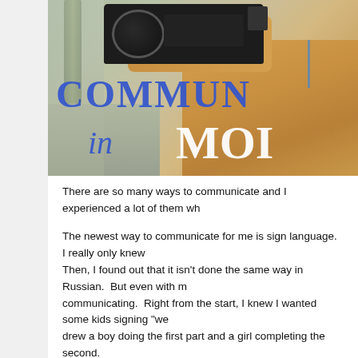[Figure (photo): A person in a tan/yellow shirt holding a large video camera up to film, outdoors with a concrete/urban background. Overlaid text reads 'COMMUN' in large blue serif letters and 'in MOL' below it — partially cropped — suggesting the title 'COMMUNICATING in MOLDOVA' or similar.]
There are so many ways to communicate and I experienced a lot of them wh
The newest way to communicate for me is sign language.  I really only knew Then, I found out that it isn't done the same way in Russian.  But even with m communicating.  Right from the start, I knew I wanted some kids signing "we drew a boy doing the first part and a girl completing the second.
On the last day of the painting in Tiraspol, Vitalik, one of my deaf painters, h it.  After four days of painting, he finally realized that the kids in the mural we